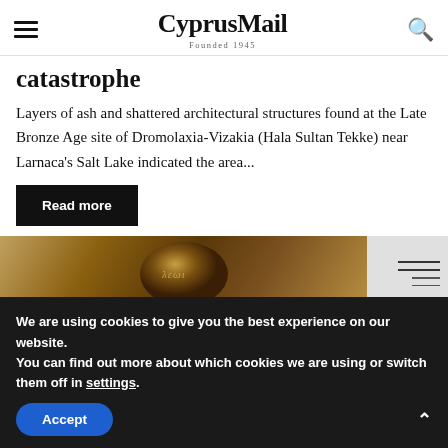CyprusMail Founded 1945
catastrophe
Layers of ash and shattered architectural structures found at the Late Bronze Age site of Dromolaxia-Vizakia (Hala Sultan Tekke) near Larnaca's Salt Lake indicated the area...
Read more
[Figure (photo): A dark ancient coin with inscriptions, partially visible, against a light background with a sidebar showing horizontal lines.]
We are using cookies to give you the best experience on our website.
You can find out more about which cookies we are using or switch them off in settings.
Accept